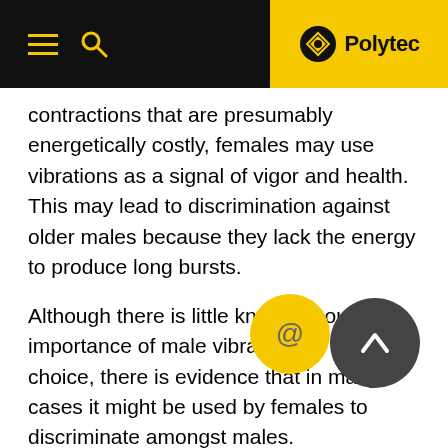Polytec
contractions that are presumably energetically costly, females may use vibrations as a signal of vigor and health. This may lead to discrimination against older males because they lack the energy to produce long bursts.
Although there is little known about the importance of male vibrations in female choice, there is evidence that in many cases it might be used by females to discriminate amongst males.
Since vibrations produced by male Osmia bicornis cost a significant amount of energy, they are likely to represent an honest signal. Experiments in which m[...], he[...] age are manipulated whilst their prec[...] vib[...] are recorded are needed to support these ideas.
The...